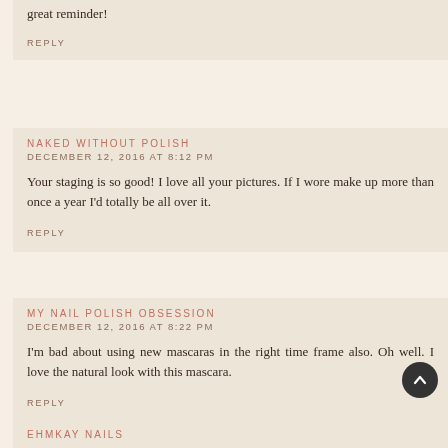great reminder!
REPLY
NAKED WITHOUT POLISH
DECEMBER 12, 2016 AT 8:12 PM
Your staging is so good! I love all your pictures. If I wore make up more than once a year I'd totally be all over it.
REPLY
MY NAIL POLISH OBSESSION
DECEMBER 12, 2016 AT 8:22 PM
I'm bad about using new mascaras in the right time frame also. Oh well. I love the natural look with this mascara.
REPLY
EHMKAY NAILS